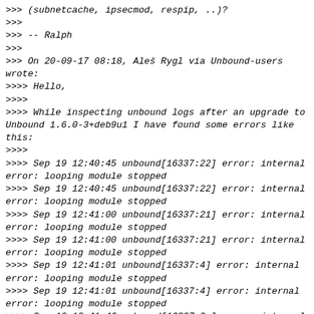>>> (subnetcache, ipsecmod, respip, ..)?
>>>
>>> -- Ralph
>>>
>>> On 20-09-17 08:18, Aleš Rygl via Unbound-users wrote:
>>>> Hello,
>>>>
>>>> While inspecting unbound logs after an upgrade to Unbound 1.6.0-3+deb9u1 I have found some errors like this:
>>>>
>>>> Sep 19 12:40:45 unbound[16337:22] error: internal error: looping module stopped
>>>> Sep 19 12:40:45 unbound[16337:22] error: internal error: looping module stopped
>>>> Sep 19 12:41:00 unbound[16337:21] error: internal error: looping module stopped
>>>> Sep 19 12:41:00 unbound[16337:21] error: internal error: looping module stopped
>>>> Sep 19 12:41:01 unbound[16337:4] error: internal error: looping module stopped
>>>> Sep 19 12:41:01 unbound[16337:4] error: internal error: looping module stopped
>>>> Sep 19 12:41:46 unbound[16337:2e] error: internal error: looping module stopped
>>>> Sep 19 12:41:46 unbound[16337:2e] error: internal error: looping module stopped
>>>> Sep 19 12:42:32 unbound[16337:29] error: internal error: looping module stopped
>>>> Sep 19 12:42:32 unbound[16337:29] error: internal error: looping module stopped